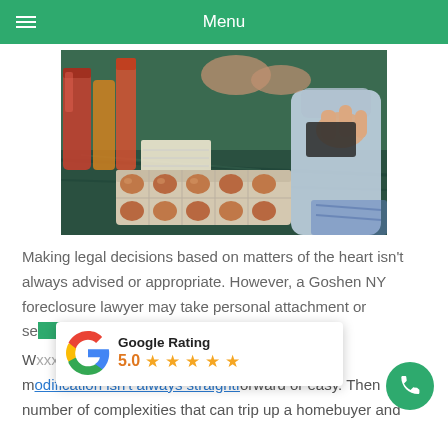Menu
[Figure (photo): Kitchen scene with eggs in a carton on a countertop, child's hands visible, bottles in background]
Making legal decisions based on matters of the heart isn't always advised or appropriate. However, a Goshen NY foreclosure lawyer may take personal attachment or sentimental value into account.
W... value in your home? modification isn't always straightforward or easy. There are a number of complexities that can trip up a homebuyer and
[Figure (other): Google Rating overlay showing 5.0 stars]